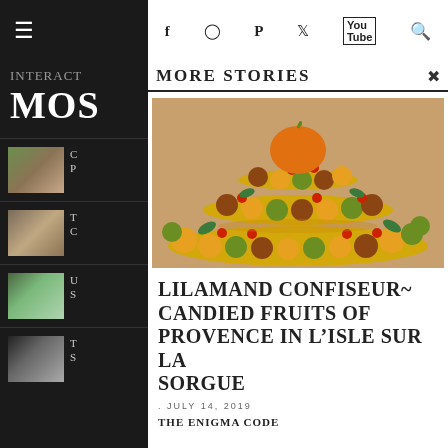☰  f  ⬤  P  🐦  ▶  🔍
MORE STORIES
[Figure (photo): Tiered display of candied fruits from Lilamand Confiseur, showing a decorative pyramid of colorful glazed fruits including kiwi, cherries, oranges and other candied items arranged on gold platters]
LILAMAND CONFISEUR~ CANDIED FRUITS OF PROVENCE IN L'ISLE SUR LA SORGUE
. JULY 14, 2019
THE ENIGMA CODE